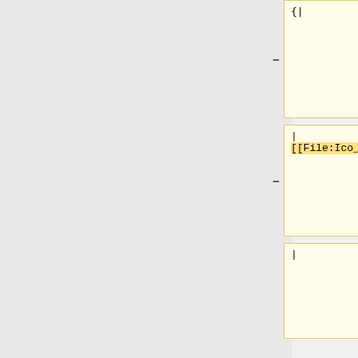| Left (code) | Right (description) |
| --- | --- |
| {| | * these attributes will make the function run '''on each, every and any mission start''' |
| |
[[File:Ico_none.png]] | * Any scripting error will prevent the mission from being loaded correctly |
| | | * Server admins might blacklist the whole |